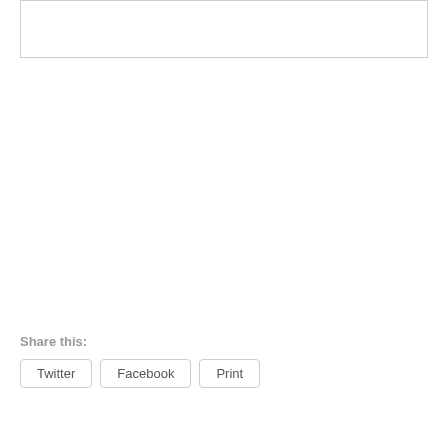[Figure (other): Empty bordered box at top of page]
Share this:
Twitter
Facebook
Print